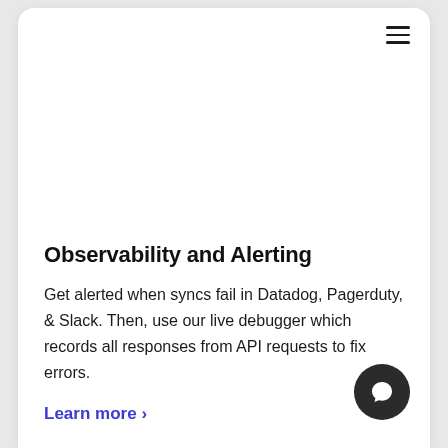[Figure (screenshot): Hamburger menu icon (three horizontal lines) in top right corner of card]
Observability and Alerting
Get alerted when syncs fail in Datadog, Pagerduty, & Slack. Then, use our live debugger which records all responses from API requests to fix errors.
Learn more >